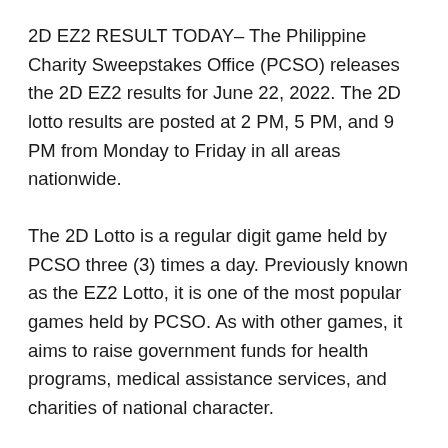2D EZ2 RESULT TODAY– The Philippine Charity Sweepstakes Office (PCSO) releases the 2D EZ2 results for June 22, 2022. The 2D lotto results are posted at 2 PM, 5 PM, and 9 PM from Monday to Friday in all areas nationwide.
The 2D Lotto is a regular digit game held by PCSO three (3) times a day. Previously known as the EZ2 Lotto, it is one of the most popular games held by PCSO. As with other games, it aims to raise government funds for health programs, medical assistance services, and charities of national character.